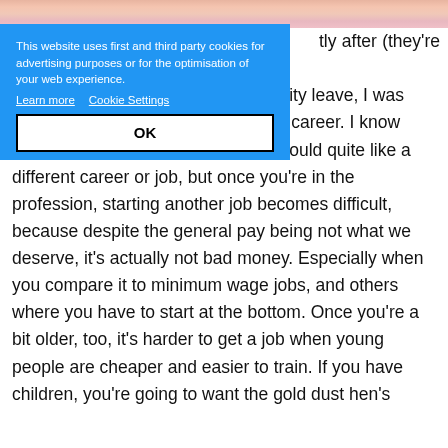[Figure (photo): Top strip of a photo showing pink/peach tones, partial image of flowers or similar decorative elements]
This website uses first and third party cookies for advertising purposes or for the optimisation of your web experience. Learn more  Cookie Settings  OK
Nurses and Midwives who would quite like a different career or job, but once you're in the profession, starting another job becomes difficult, because despite the general pay being not what we deserve, it's actually not bad money. Especially when you compare it to minimum wage jobs, and others where you have to start at the bottom. Once you're a bit older, too, it's harder to get a job when young people are cheaper and easier to train. If you have children, you're going to want the gold dust hen's